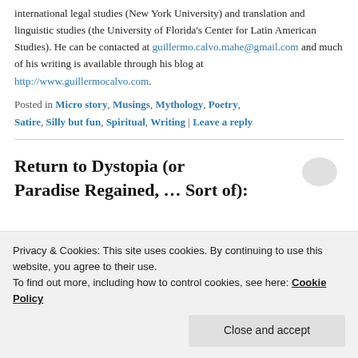international legal studies (New York University) and translation and linguistic studies (the University of Florida's Center for Latin American Studies). He can be contacted at guillermo.calvo.mahe@gmail.com and much of his writing is available through his blog at http://www.guillermocalvo.com.
Posted in Micro story, Musings, Mythology, Poetry, Satire, Silly but fun, Spiritual, Writing | Leave a reply
Return to Dystopia (or Paradise Regained, … Sort of):
Privacy & Cookies: This site uses cookies. By continuing to use this website, you agree to their use. To find out more, including how to control cookies, see here: Cookie Policy